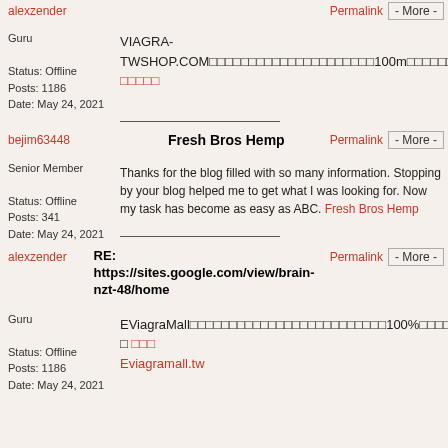alexzender
Permalink   - More -
Guru
Status: Offline
Posts: 1186
Date: May 24, 2021
VIAGRA-TWSHOP.COM□□□□□□□□□□□□□□□□□□□□□100m□□□□□□□□3000□□□24h□□□□□□□□□□□□□□□□□ □□□□□
bejim63448
Fresh Bros Hemp
Permalink   - More -
Senior Member
Status: Offline
Posts: 341
Date: May 24, 2021
Thanks for the blog filled with so many information. Stopping by your blog helped me to get what I was looking for. Now my task has become as easy as ABC. Fresh Bros Hemp
alexzender
RE:
https://sites.google.com/view/brain-nzt-48/home
Permalink   - More -
Guru
Status: Offline
Posts: 1186
Date: May 24, 2021
EViagraMall□□□□□□□□□□□□□□□□□□□□□□□□□100%□□□□□□□□□□□□□□□□□□□□□□□□□□□□□□□□□□□□□□□□□□□□□ □ □□□ Eviagramall.tw